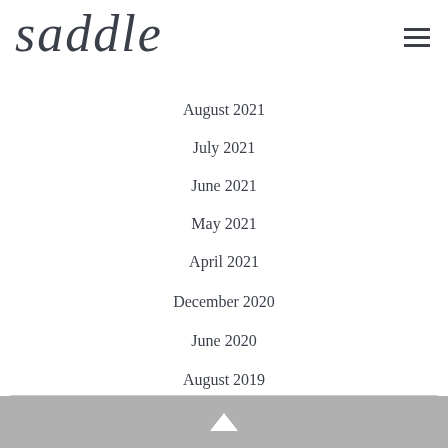saddle
August 2021
July 2021
June 2021
May 2021
April 2021
December 2020
June 2020
August 2019
May 2019
↑